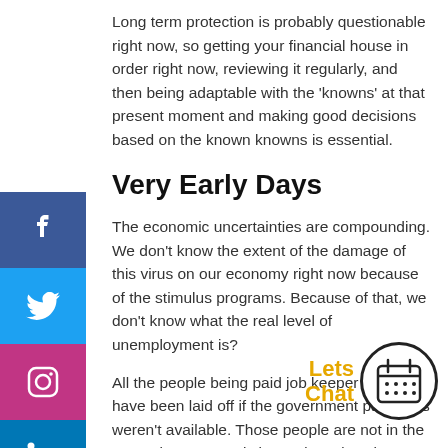Long term protection is probably questionable right now, so getting your financial house in order right now, reviewing it regularly, and then being adaptable with the 'knowns' at that present moment and making good decisions based on the known knowns is essential.
Very Early Days
The economic uncertainties are compounding. We don't know the extent of the damage of this virus on our economy right now because of the stimulus programs. Because of that, we don't know what the real level of unemployment is?
All the people being paid job keeper may well have been laid off if the government payments weren't available. Those people are not in the unemployment statistics and we don't know what percentage it could have been or be in the future.
We don't know if thee people will be employed in the